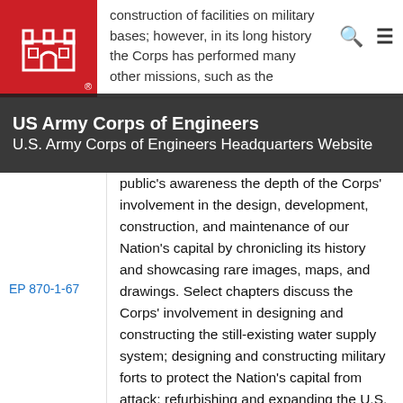[Figure (logo): US Army Corps of Engineers castle logo on red background]
construction of facilities on military bases; however, in its long history the Corps has performed many other missions, such as the
US Army Corps of Engineers
U.S. Army Corps of Engineers Headquarters Website
EP 870-1-67
public's awareness the depth of the Corps' involvement in the design, development, construction, and maintenance of our Nation's capital by chronicling its history and showcasing rare images, maps, and drawings. Select chapters discuss the Corps' involvement in designing and constructing the still-existing water supply system; designing and constructing military forts to protect the Nation's capital from attack; refurbishing and expanding the U.S. Capitol; completing the Washington Monument; constructing many large buildings including the Pentagon and Library of Congress; designing and constructing roadways, major bridges, Washington National Airport, and the many monuments; refurbishing the White House; designing and maintaining the many parks; and planning highways; to name a few.